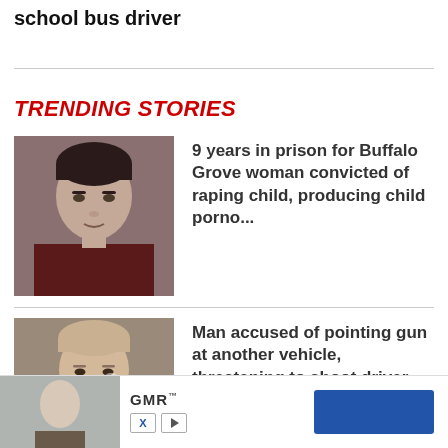school bus driver
TRENDING STORIES
9 years in prison for Buffalo Grove woman convicted of raping child, producing child porno...
Man accused of pointing gun at another vehicle, threatening to shoot driver before fiery c...
U.S. Marshals arrest 2nd man wanted for ... ng lot